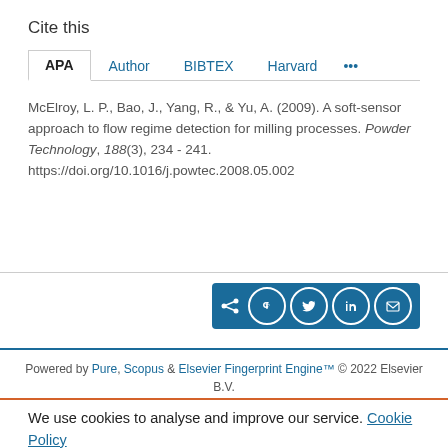Cite this
APA | Author | BIBTEX | Harvard | ...
McElroy, L. P., Bao, J., Yang, R., & Yu, A. (2009). A soft-sensor approach to flow regime detection for milling processes. Powder Technology, 188(3), 234 - 241. https://doi.org/10.1016/j.powtec.2008.05.002
Powered by Pure, Scopus & Elsevier Fingerprint Engine™ © 2022 Elsevier B.V.
We use cookies to analyse and improve our service. Cookie Policy